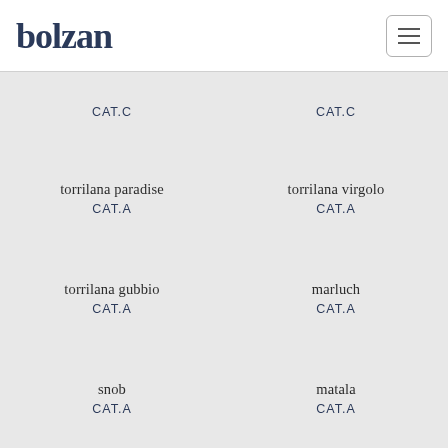bolzan
CAT.C
CAT.C
torrilana paradise
CAT.A
torrilana virgolo
CAT.A
torrilana gubbio
CAT.A
marluch
CAT.A
snob
CAT.A
matala
CAT.A